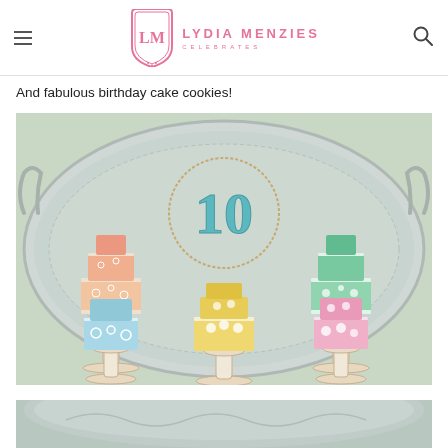Lydia Menzies Celebrates
And fabulous birthday cake cookies!
[Figure (photo): A silver platter holding multiple decorated birthday cake cookies on pedestal stands. The cookies are iced in pastel colors: coral/pink, mint green, light blue, yellow, and pale pink. In the center is a cookie shaped like the number 10 in teal. Each cake cookie is detailed with floral and lacework icing patterns.]
[Figure (photo): Partial view of another silver tray with decorated cookies, shown at the bottom of the page.]